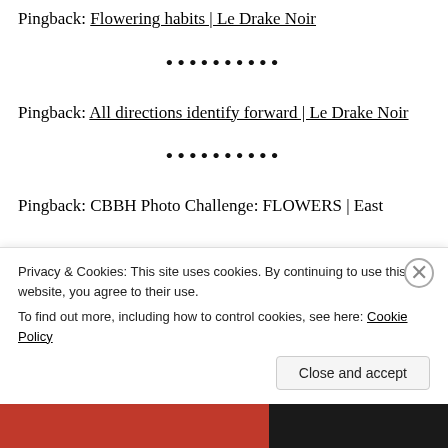Pingback: Flowering habits | Le Drake Noir
••••••••••
Pingback: All directions identify forward | Le Drake Noir
••••••••••
Pingback: CBBH Photo Challenge: FLOWERS | East
Privacy & Cookies: This site uses cookies. By continuing to use this website, you agree to their use. To find out more, including how to control cookies, see here: Cookie Policy
Close and accept